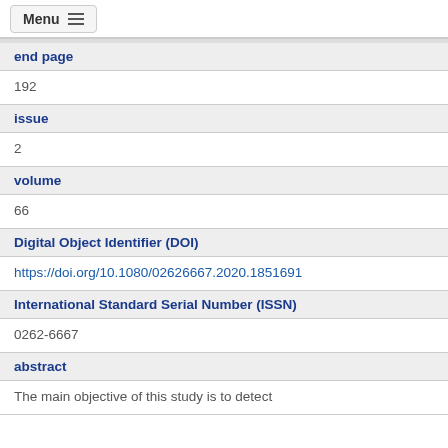Menu
end page
192
issue
2
volume
66
Digital Object Identifier (DOI)
https://doi.org/10.1080/02626667.2020.1851691
International Standard Serial Number (ISSN)
0262-6667
abstract
The main objective of this study is to detect